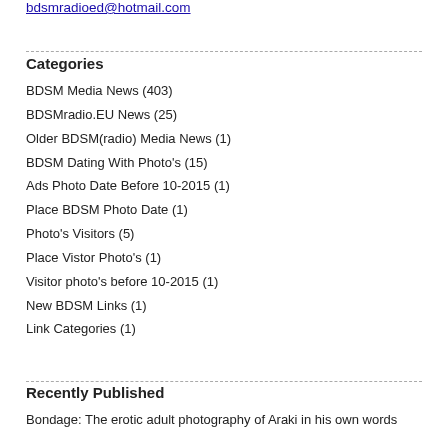bdsmradioed@hotmail.com
BDSM Media News (403)
BDSMradio.EU News (25)
Older BDSM(radio) Media News (1)
BDSM Dating With Photo's (15)
Ads Photo Date Before 10-2015 (1)
Place BDSM Photo Date (1)
Photo's Visitors (5)
Place Vistor Photo's (1)
Visitor photo's before 10-2015 (1)
New BDSM Links (1)
Link Categories (1)
Recently Published
Bondage: The erotic adult photography of Araki in his own words